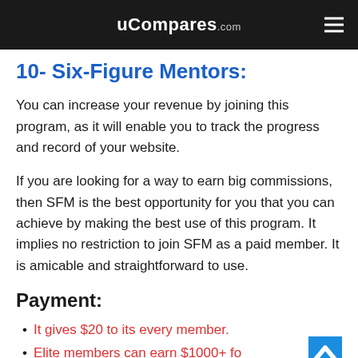uCompares.com
10- Six-Figure Mentors:
You can increase your revenue by joining this program, as it will enable you to track the progress and record of your website.
If you are looking for a way to earn big commissions, then SFM is the best opportunity for you that you can achieve by making the best use of this program. It implies no restriction to join SFM as a paid member. It is amicable and straightforward to use.
Payment:
It gives $20 to its every member.
Elite members can earn $1000+ for...